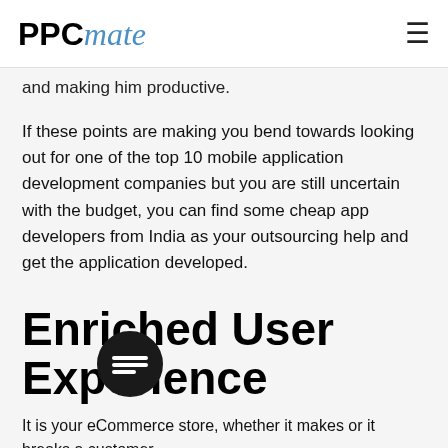PPCmate
and making him productive.
If these points are making you bend towards looking out for one of the top 10 mobile application development companies but you are still uncertain with the budget, you can find some cheap app developers from India as your outsourcing help and get the application developed.
Enriched User Experience
It is your eCommerce store, whether it makes or it breaks a customer.